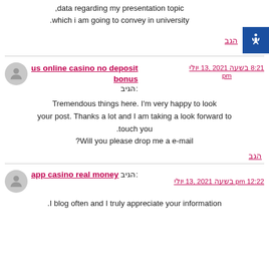,data regarding my presentation topic
.which i am going to convey in university
הגב
us online casino no deposit bonus :הגיב
יולי 13, 2021 בשעה 8:21 pm
Tremendous things here. I'm very happy to look your post. Thanks a lot and I am taking a look forward to touch you. Will you please drop me a e-mail?
הגב
app casino real money :הגיב
יולי 13, 2021 בשעה 12:22 pm
I blog often and I truly appreciate your information.